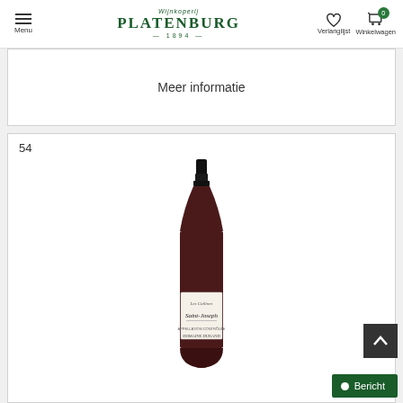Wijnkoperij PLATENBURG — 1894 — | Verlanglijst | Winkelwagen 0
Meer informatie
54
[Figure (photo): A dark wine bottle with black capsule, white label reading 'Les Collines Saint-Joseph Domaine Durand']
Bericht